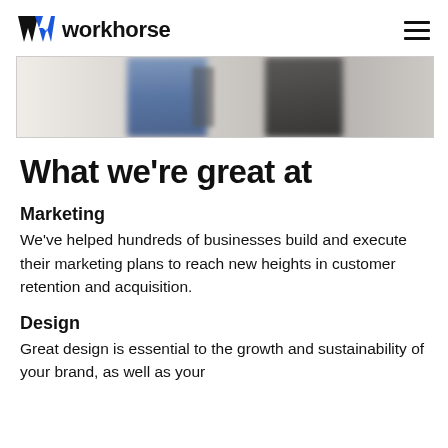workhorse
[Figure (photo): Cropped photo showing the lower bodies of two people standing, one wearing blue jeans and one in dark clothing, blurred background]
What we're great at
Marketing
We've helped hundreds of businesses build and execute their marketing plans to reach new heights in customer retention and acquisition.
Design
Great design is essential to the growth and sustainability of your brand, as well as your